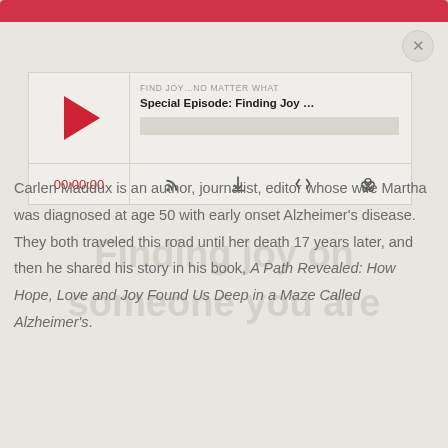[Figure (screenshot): Podcast audio player widget with red play button, episode title 'Special Episode: Finding Joy...', progress bar, time display '00:00:00', and control icons for subscribe, download, embed, and share.]
FIND JOY...NO MATTER WHAT
Special Episode: Finding Joy ...
00:00:00
Carlen Maddux is an author, journalist, editor whose wife Martha was diagnosed at age 50 with early onset Alzheimer's disease. They both traveled this road until her death 17 years later, and then he shared his story in his book, A Path Revealed: How Hope, Love and Joy Found Us Deep in a Maze Called Alzheimer's.